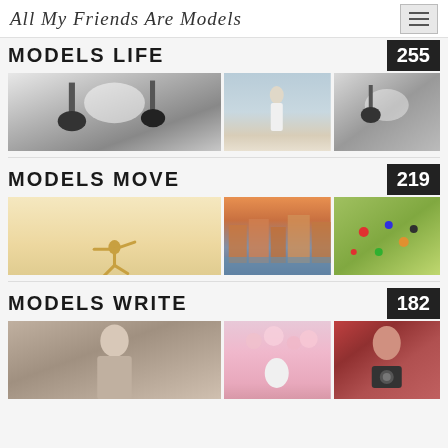All My Friends Are Models
MODELS LIFE 255
[Figure (photo): Photography studio with lighting equipment and white backdrop]
[Figure (photo): Woman in white dress on beach]
[Figure (photo): Photography studio with lighting equipment]
MODELS MOVE 219
[Figure (photo): Dancer silhouette on warm background]
[Figure (photo): Venice canal at sunset]
[Figure (photo): Map with colorful pins]
MODELS WRITE 182
[Figure (photo): Young woman indoors]
[Figure (photo): Woman with cherry blossoms]
[Figure (photo): Woman with camera in red jacket]